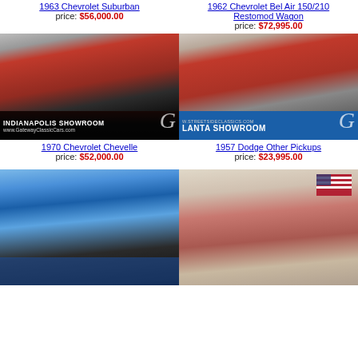1963 Chevrolet Suburban
price: $56,000.00
1962 Chevrolet Bel Air 150/210 Restomod Wagon
price: $72,995.00
[Figure (photo): 1970 Chevrolet Chevelle red muscle car in Indianapolis showroom, Gateway Classic Cars]
[Figure (photo): 1957 Dodge Other Pickups red truck in Atlanta showroom, Streetside Classics]
1970 Chevrolet Chevelle
price: $52,000.00
1957 Dodge Other Pickups
price: $23,995.00
[Figure (photo): Blue hot rod custom car with exposed engine]
[Figure (photo): Classic car (possibly 1957 Thunderbird) in showroom with American flag on wall]